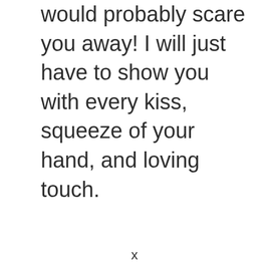would probably scare you away! I will just have to show you with every kiss, squeeze of your hand, and loving touch.
x